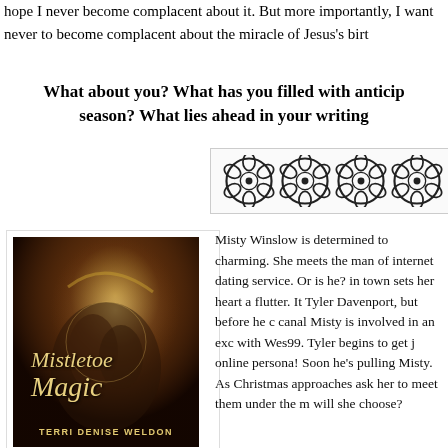hope I never become complacent about it. But more importantly, I want never to become complacent about the miracle of Jesus's birth
What about you? What has you filled with anticipation this season? What lies ahead in your writing
[Figure (illustration): Four decorative floral/rosette ornament symbols in a bordered box]
[Figure (illustration): Book cover for 'Mistletoe Magic' by Terri Denise Weldon showing a romantic couple in warm golden light]
Mistletoe Magic
Purchase Link
Misty Winslow is determined to find a man who is handsome and charming. She meets the man of her dreams through an internet dating service. Or is he? A devastatingly handsome man in town sets her heart a flutter. It turns out the man is Tyler Davenport, but before he can introduce himself for real, canal Misty is involved in an exclusive online correspondence with Wes99. Tyler begins to get jealous of his own online persona! Soon he's pulling out all the stops to woo Misty. As Christmas approaches, both Wes99 and Tyler will ask her to meet them under the mistletoe...but which one will she choose?